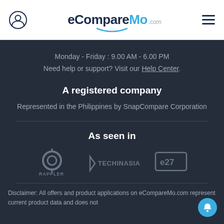eCompareMo.com
Monday - Friday : 9.00 AM - 6.00 PM
Need help or support? Visit our Help Center.
A registered company
Represented in the Philippines by SnapCompare Corporation
As seen in
[Figure (logo): Logos of Rappler, TechInAsia, and e27]
Disclaimer: All offers and product applications on eCompareMo.com represent current product data and does not